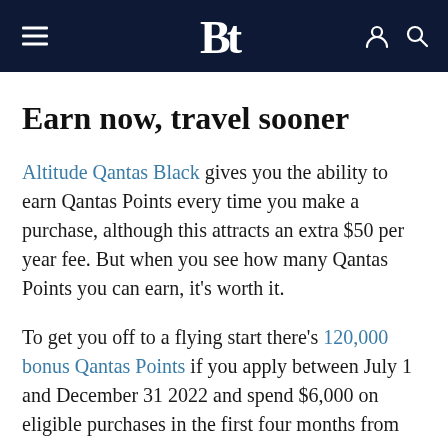Bt — navigation header with menu, logo, user and search icons
Earn now, travel sooner
Altitude Qantas Black gives you the ability to earn Qantas Points every time you make a purchase, although this attracts an extra $50 per year fee. But when you see how many Qantas Points you can earn, it's worth it.
To get you off to a flying start there's 120,000 bonus Qantas Points if you apply between July 1 and December 31 2022 and spend $6,000 on eligible purchases in the first four months from